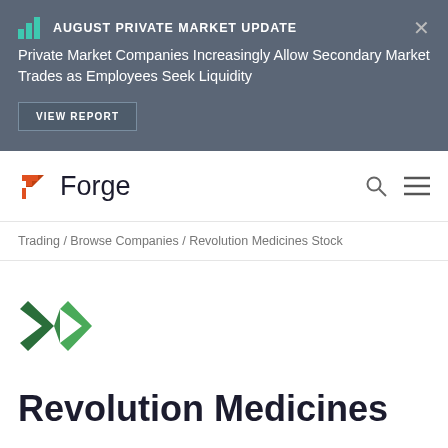AUGUST PRIVATE MARKET UPDATE
Private Market Companies Increasingly Allow Secondary Market Trades as Employees Seek Liquidity
VIEW REPORT
[Figure (logo): Forge logo with orange arrow/chevron icon and dark 'Forge' wordmark]
Trading / Browse Companies / Revolution Medicines Stock
[Figure (logo): Revolution Medicines green diamond/chevron logo mark]
Revolution Medicines